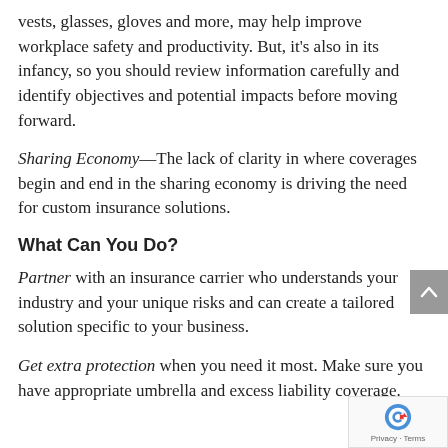vests, glasses, gloves and more, may help improve workplace safety and productivity. But, it's also in its infancy, so you should review information carefully and identify objectives and potential impacts before moving forward.
Sharing Economy—The lack of clarity in where coverages begin and end in the sharing economy is driving the need for custom insurance solutions.
What Can You Do?
Partner with an insurance carrier who understands your industry and your unique risks and can create a tailored solution specific to your business.
Get extra protection when you need it most. Make sure you have appropriate umbrella and excess liability coverage.